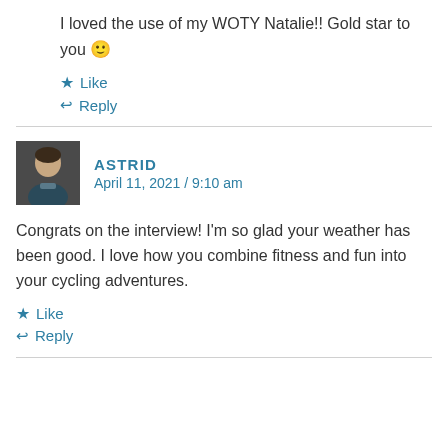I loved the use of my WOTY Natalie!! Gold star to you 🙂
★ Like
↩ Reply
ASTRID
April 11, 2021 / 9:10 am
Congrats on the interview! I'm so glad your weather has been good. I love how you combine fitness and fun into your cycling adventures.
★ Like
↩ Reply